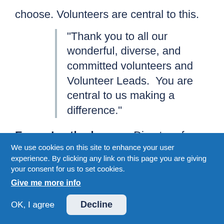choose. Volunteers are central to this.
"Thank you to all our wonderful, diverse, and committed volunteers and Volunteer Leads.  You are central to us making a difference."
Emma Leatherbarrow, Director of Partnerships, also commented:
“Volunteers make an enormous difference to what we are able to achieve
We use cookies on this site to enhance your user experience. By clicking any link on this page you are giving your consent for us to set cookies.
Give me more info
OK, I agree
Decline